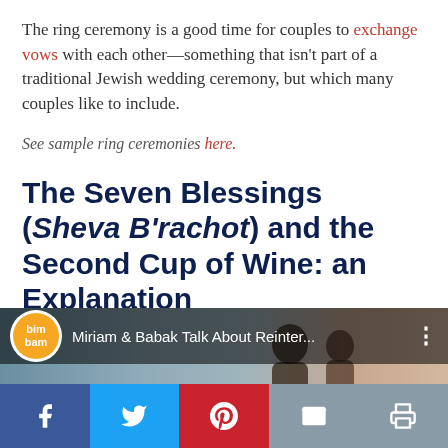The ring ceremony is a good time for couples to exchange vows with each other—something that isn't part of a traditional Jewish wedding ceremony, but which many couples like to include.
See sample ring ceremonies here.
The Seven Blessings (Sheva B'rachot) and the Second Cup of Wine: an Explanation
[Figure (screenshot): Video thumbnail showing bimbam logo and title 'Miriam & Babak Talk About Reinter...' with a couple silhouette in background]